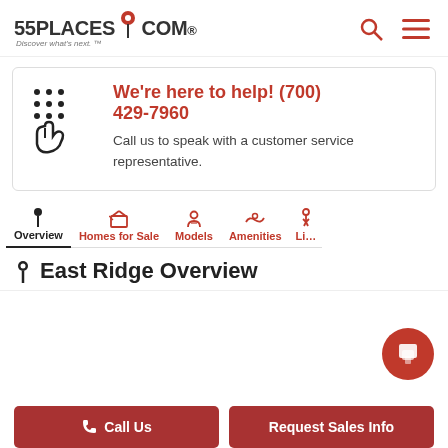55PLACES.COM Discover what's next.
We're here to help! (700) 429-7960
Call us to speak with a customer service representative.
Overview | Homes for Sale | Models | Amenities | Li...
East Ridge Overview
Call Us | Request Sales Info